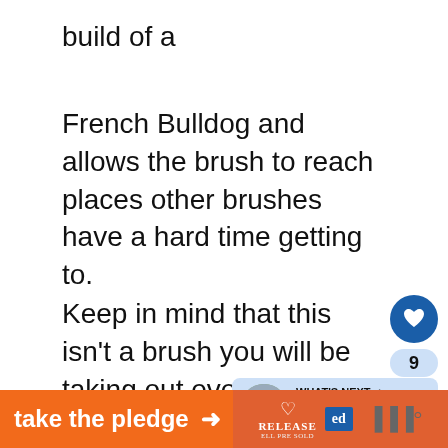build of a
French Bulldog and allows the brush to reach places other brushes have a hard time getting to.
Keep in mind that this isn't a brush you will be taking out every once in a while for prop pampering and grooming your pup's short hair.
Instead, think of it as a sofa-side brush that will be your best ally in dealing with French
[Figure (screenshot): Social media widget with heart/like button showing dark blue circle with heart icon, count of 9, and share button in light blue circle]
[Figure (screenshot): What's Next widget showing a French Bulldog image thumbnail with text '10 Best Collars For...']
[Figure (screenshot): Orange banner ad reading 'take the pledge' with arrow, RELEASE logo with heart icon, ED blue box, and mute icon]